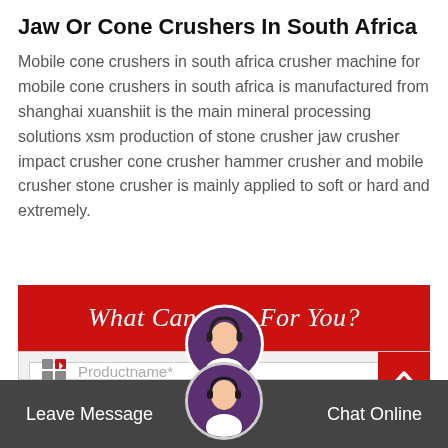Jaw Or Cone Crushers In South Africa
Mobile cone crushers in south africa crusher machine for mobile cone crushers in south africa is manufactured from shanghai xuanshiit is the main mineral processing solutions xsm production of stone crusher jaw crusher impact crusher cone crusher hammer crusher and mobile crusher stone crusher is mainly applied to soft or hard and extremely.
What Can I Do For You?
[Figure (screenshot): Form input area with product name field and icon]
Leave Message   Chat Online